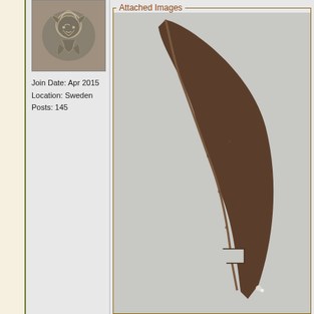[Figure (photo): Avatar image showing an engraved lion/wolf heraldic design on a coin or medallion]
Join Date: Apr 2015
Location: Sweden
Posts: 145
Attached Images
[Figure (photo): Close-up photograph of a dark brown curved blade tip against a light gray background, showing the pointed tip and part of the blade profile with a notch near the bottom]